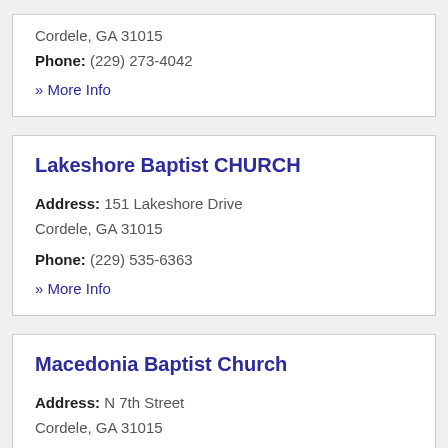Cordele, GA 31015
Phone: (229) 273-4042
» More Info
Lakeshore Baptist CHURCH
Address: 151 Lakeshore Drive
Cordele, GA 31015
Phone: (229) 535-6363
» More Info
Macedonia Baptist Church
Address: N 7th Street
Cordele, GA 31015
Phone: (229) 273-1705